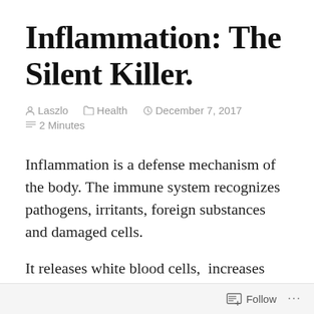Inflammation: The Silent Killer.
Laszlo   Health   December 7, 2017   2 Minutes
Inflammation is a defense mechanism of the body. The immune system recognizes pathogens, irritants, foreign substances and damaged cells.
It releases white blood cells,  increases circulation and heat, creating an
Follow ...